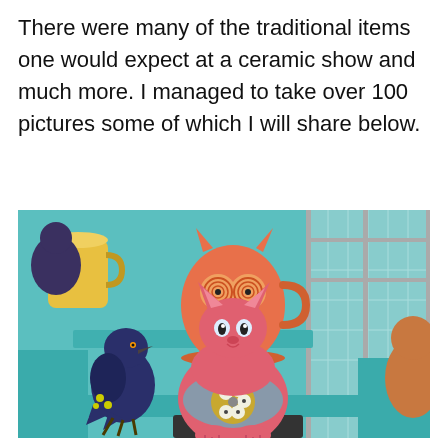There were many of the traditional items one would expect at a ceramic show and much more. I managed to take over 100 pictures some of which I will share below.
[Figure (photo): Photo of ceramic items at a ceramic show displayed on turquoise shelves. In the foreground is a large pink cat-shaped ceramic jar with a floral design on its belly. To the left is a dark blue ceramic bird figurine. Behind them is an orange/pink owl-shaped mug with concentric circle eyes. Various other colorful ceramics are visible in the background.]